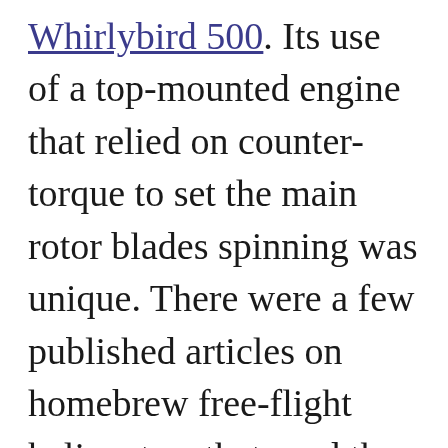Whirlybird 500. Its use of a top-mounted engine that relied on counter-torque to set the main rotor blades spinning was unique. There were a few published articles on homebrew free-flight helicopters that used the arrangement, and Cox even marketed a ready-to-fly model that had a Cox